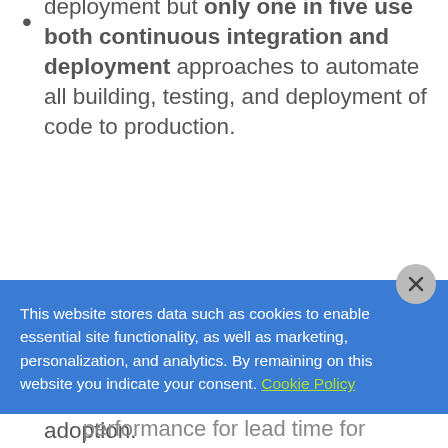deployment but only one in five use both continuous integration and deployment approaches to automate all building, testing, and deployment of code to production.
Medium-sized businesses and large enterprises are experiencing the most significant growth in DevOps adoption.
There remains a strong correlation between speed and stability metrics, rather than one compromising the other.
This website stores data such as cookies to enable essential site functionality, as well as marketing, personalization, and analytics. By remaining on this website you indicate your consent. Cookie Policy
performance for lead time for